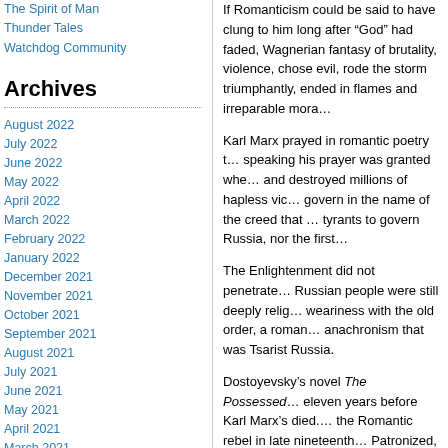The Spirit of Man
Thunder Tales
Watchdog Community
Archives
August 2022
July 2022
June 2022
May 2022
April 2022
March 2022
February 2022
January 2022
December 2021
November 2021
October 2021
September 2021
August 2021
July 2021
June 2021
May 2021
April 2021
March 2021
February 2021
January 2021
December 2020
November 2020
October 2020
September 2020
August 2020
If Romanticism could be said to have clung to him long after “God” had faded, Wagnerian fantasy of brutality, violence, chose evil, rode the storm triumphantly, ended in flames and irreparable mora…
Karl Marx prayed in romantic poetry t… speaking his prayer was granted whe… and destroyed millions of hapless vic… govern in the name of the creed that … tyrants to govern Russia, nor the first…
The Enlightenment did not penetrate… Russian people were still deeply relig… weariness with the old order, a roman… anachronism that was Tsarist Russia.
Dostoyevsky’s novel The Possessed… eleven years before Karl Marx’s died.… the Romantic rebel in late nineteenth… Patronized, courted, and encouraged… existential despair and malicious crim… civilization’s decline – they transgress… murder for the sake of murdering, an… suicide and allows the others to blam… the culprit. Why? Because nothing m…